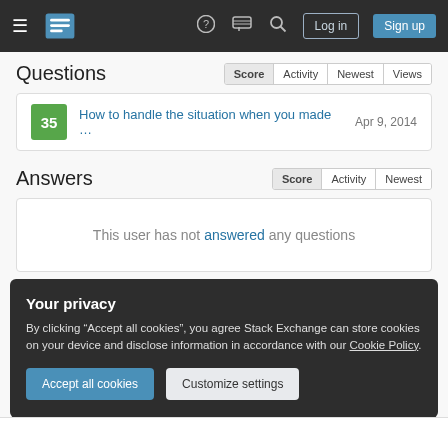Stack Exchange navigation bar with Log in and Sign up buttons
Questions
35  How to handle the situation when you made …  Apr 9, 2014
Answers
This user has not answered any questions
Tags
Your privacy
By clicking "Accept all cookies", you agree Stack Exchange can store cookies on your device and disclose information in accordance with our Cookie Policy.
Accept all cookies  Customize settings